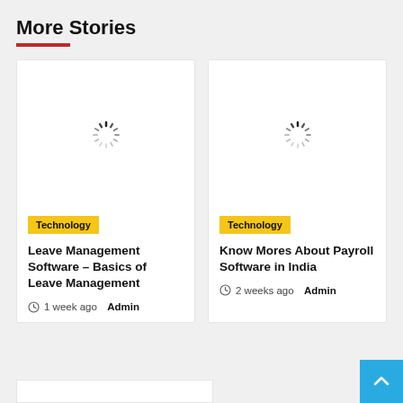More Stories
[Figure (illustration): Loading spinner icon for first card image placeholder]
Technology
Leave Management Software – Basics of Leave Management
1 week ago  Admin
[Figure (illustration): Loading spinner icon for second card image placeholder]
Technology
Know Mores About Payroll Software in India
2 weeks ago  Admin